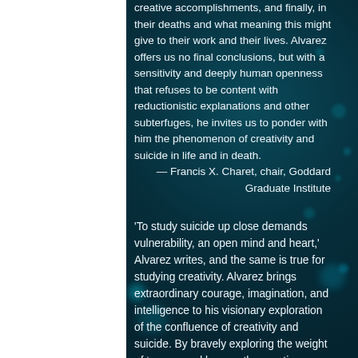creative accomplishments, and finally, in their deaths and what meaning this might give to their work and their lives. Alvarez offers us no final conclusions, but with a sensitivity and deeply human openness that refuses to be content with reductionistic explanations and other subterfuges, he invites us to ponder with him the phenomenon of creativity and suicide in life and in death.
— Francis X. Charet, chair, Goddard Graduate Institute
'To study suicide up close demands vulnerability, an open mind and heart,' Alvarez writes, and the same is true for studying creativity. Alvarez brings extraordinary courage, imagination, and intelligence to his visionary exploration of the confluence of creativity and suicide. By bravely exploring the weight of trauma and loss on the creative processes and lives of eleven artists as